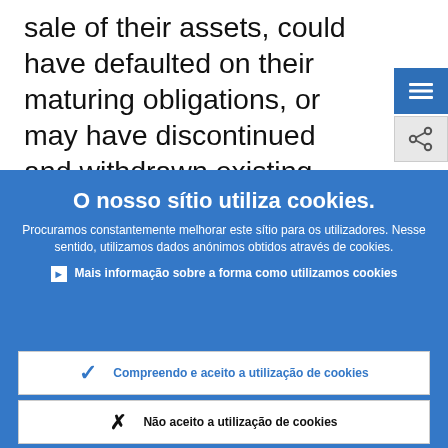sale of their assets, could have defaulted on their maturing obligations, or may have discontinued and withdrawn existing credit lines to companies. The ensuing restricted
O nosso sítio utiliza cookies.
Procuramos constantemente melhorar este sítio para os utilizadores. Nesse sentido, utilizamos dados anónimos obtidos através de cookies.
Mais informação sobre a forma como utilizamos cookies
Compreendo e aceito a utilização de cookies
Não aceito a utilização de cookies